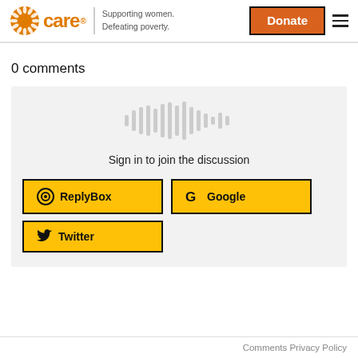CARE | Supporting women. Defeating poverty. | Donate
0 comments
[Figure (screenshot): Comment widget with waveform icon, 'Sign in to join the discussion' text, and login buttons for ReplyBox, Google, and Twitter]
Comments Privacy Policy